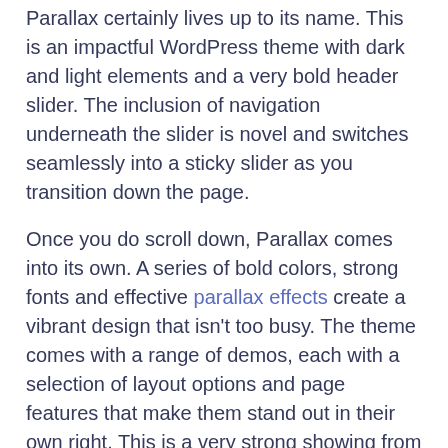Parallax certainly lives up to its name. This is an impactful WordPress theme with dark and light elements and a very bold header slider. The inclusion of navigation underneath the slider is novel and switches seamlessly into a sticky slider as you transition down the page.
Once you do scroll down, Parallax comes into its own. A series of bold colors, strong fonts and effective parallax effects create a vibrant design that isn't too busy. The theme comes with a range of demos, each with a selection of layout options and page features that make them stand out in their own right. This is a very strong showing from Themify.
Parallax Pricing